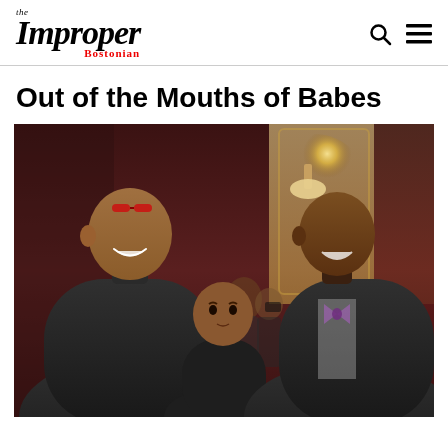the Improper Bostonian
Out of the Mouths of Babes
[Figure (photo): Two adult men and a child posing together at a formal event in a grand ballroom with red curtains and warm lighting in the background. The man on the left wears a black turtleneck and blazer with sunglasses on his head; the man on the right wears a dark suit with a striped shirt and floral bow tie; a young child stands between and in front of them.]